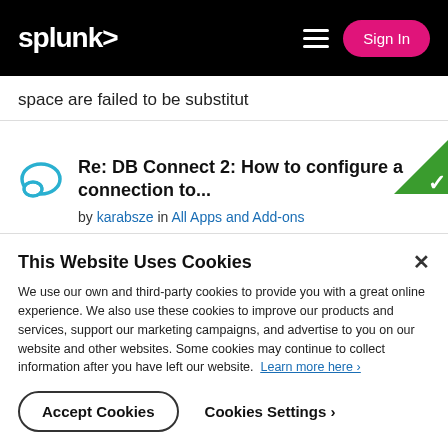splunk> Sign In
space are failed to be substitut
Re: DB Connect 2: How to configure a connection to...
by karabsze in All Apps and Add-ons
04-15-2015 07:08 PM
This Website Uses Cookies
We use our own and third-party cookies to provide you with a great online experience. We also use these cookies to improve our products and services, support our marketing campaigns, and advertise to you on our website and other websites. Some cookies may continue to collect information after you have left our website. Learn more here ›
Accept Cookies   Cookies Settings ›